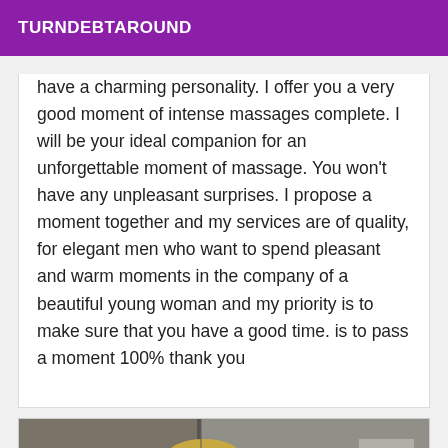TURNDEBTAROUND
have a charming personality. I offer you a very good moment of intense massages complete. I will be your ideal companion for an unforgettable moment of massage. You won't have any unpleasant surprises. I propose a moment together and my services are of quality, for elegant men who want to spend pleasant and warm moments in the company of a beautiful young woman and my priority is to make sure that you have a good time. is to pass a moment 100% thank you
[Figure (photo): A woman taking a mirror selfie in an elevator, holding a smartphone, wearing a white top, with blonde hair, elevator buttons visible on the right side.]